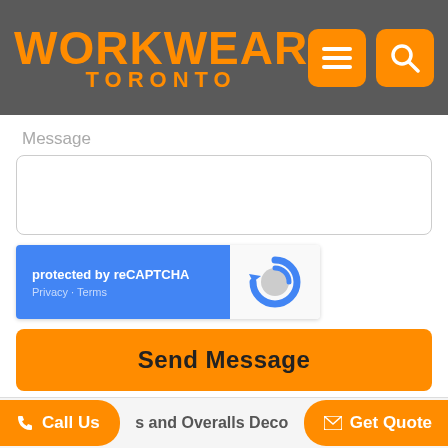[Figure (logo): Workwear Toronto logo in orange text on dark grey background, with hamburger menu icon and search icon in orange squares on the right]
Message
[Figure (screenshot): Empty textarea input field with rounded corners]
[Figure (other): reCAPTCHA widget: blue left panel with 'protected by reCAPTCHA' and 'Privacy · Terms', white right panel with reCAPTCHA logo]
Send Message
Harjit Singh
s and Overalls Deco
Call Us
Get Quote